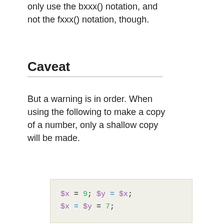only use the bxxx() notation, and not the fxxx() notation, though.
Caveat
But a warning is in order. When using the following to make a copy of a number, only a shallow copy will be made.
[Figure (screenshot): Code block showing: $x = 9; $y = $x; $x = $y = 7;]
Using the copy or the original with overloaded math is okay, e.g. the following work: